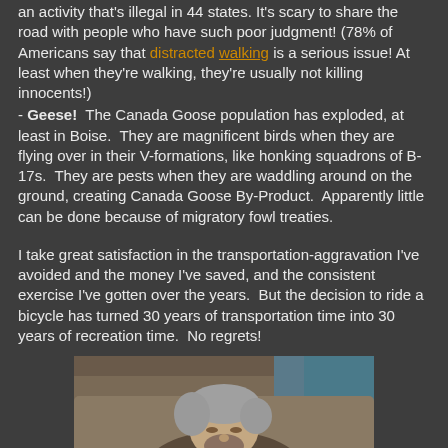an activity that's illegal in 44 states. It's scary to share the road with people who have such poor judgment! (78% of Americans say that distracted walking is a serious issue! At least when they're walking, they're usually not killing innocents!)
- Geese! The Canada Goose population has exploded, at least in Boise. They are magnificent birds when they are flying over in their V-formations, like honking squadrons of B-17s. They are pests when they are waddling around on the ground, creating Canada Goose By-Product. Apparently little can be done because of migratory fowl treaties.
I take great satisfaction in the transportation-aggravation I've avoided and the money I've saved, and the consistent exercise I've gotten over the years. But the decision to ride a bicycle has turned 30 years of transportation time into 30 years of recreation time. No regrets!
[Figure (photo): A photo of a person with gray hair reclining on a couch or sofa, visible from the shoulders up, with a background showing some teal/blue elements.]